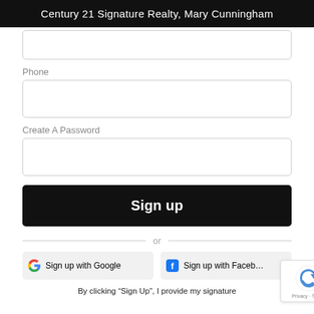Century 21 Signature Realty, Mary Cunningham
Phone
[Figure (screenshot): Phone input field (empty text box)]
Create A Password
[Figure (screenshot): Password input field (empty text box)]
Sign up
or
Sign up with Google
Sign up with Facebook
By clicking “Sign Up”, I provide my signature